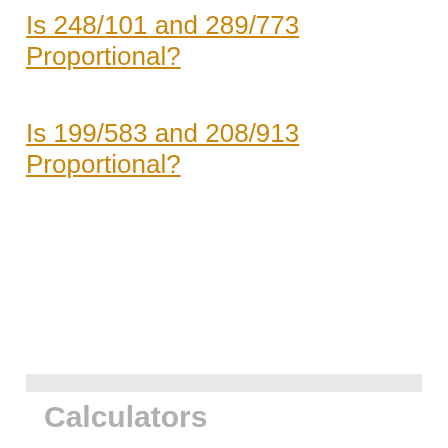Is 248/101 and 289/773 Proportional?
Is 199/583 and 208/913 Proportional?
Calculators